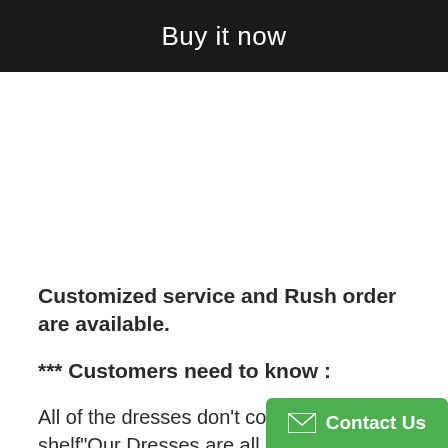[Figure (screenshot): Black button bar with white text 'Buy it now']
Customized service and Rush order are available.
*** Customers need to know :
All of the dresses don't come "on the shelf"⁠Our Dresses are all custom-made⁠.We
[Figure (screenshot): Green Contact Us button in bottom right corner with envelope icon]